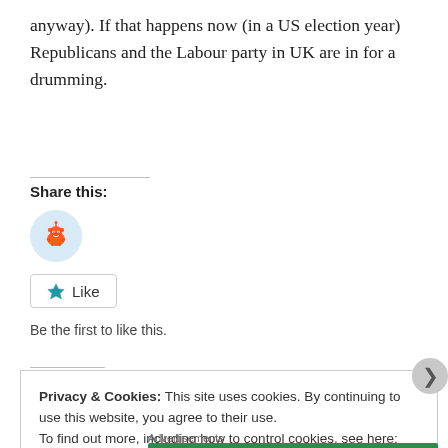anyway). If that happens now (in a US election year) Republicans and the Labour party in UK are in for a drumming.
Share this:
[Figure (illustration): Reddit share button icon — circular light blue button with Reddit alien logo]
[Figure (illustration): Like button — outlined rectangle with blue star icon and 'Like' text]
Be the first to like this.
Privacy & Cookies: This site uses cookies. By continuing to use this website, you agree to their use.
To find out more, including how to control cookies, see here: Cookie Policy
Close and accept
Advertisements